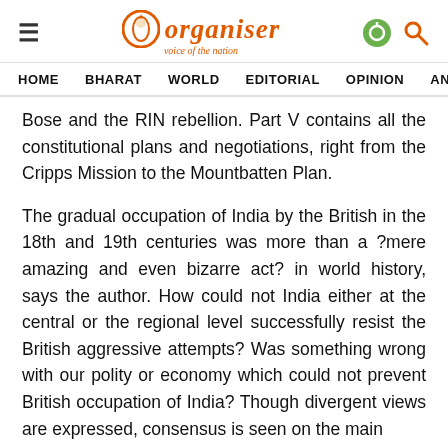Organiser — voice of the nation
HOME  BHARAT  WORLD  EDITORIAL  OPINION  ANA
Bose and the RIN rebellion. Part V contains all the constitutional plans and negotiations, right from the Cripps Mission to the Mountbatten Plan.
The gradual occupation of India by the British in the 18th and 19th centuries was more than a ?mere amazing and even bizarre act? in world history, says the author. How could not India either at the central or the regional level successfully resist the British aggressive attempts? Was something wrong with our polity or economy which could not prevent British occupation of India? Though divergent views are expressed, consensus is seen on the main